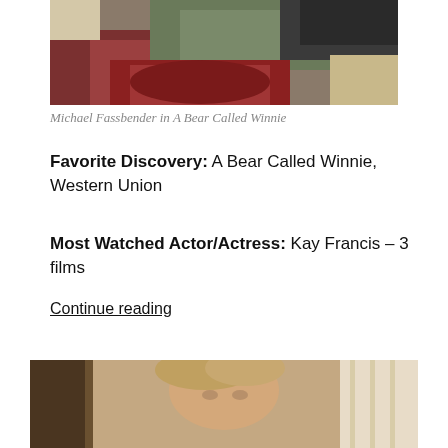[Figure (photo): Photo of Michael Fassbender in A Bear Called Winnie — partial view showing arms, jacket, and what appears to be a bear cub on a couch]
Michael Fassbender in A Bear Called Winnie
Favorite Discovery: A Bear Called Winnie, Western Union
Most Watched Actor/Actress: Kay Francis – 3 films
Continue reading
[Figure (photo): Partial photo of a person (woman with light hair) in a room with curtains — bottom portion of page]